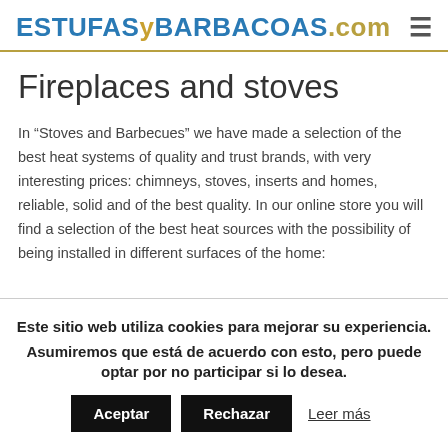ESTUFASYBARBACOAS.com
Fireplaces and stoves
In “Stoves and Barbecues” we have made a selection of the best heat systems of quality and trust brands, with very interesting prices: chimneys, stoves, inserts and homes, reliable, solid and of the best quality. In our online store you will find a selection of the best heat sources with the possibility of being installed in different surfaces of the home:
Este sitio web utiliza cookies para mejorar su experiencia. Asumiremos que está de acuerdo con esto, pero puede optar por no participar si lo desea.
Aceptar | Rechazar | Leer más